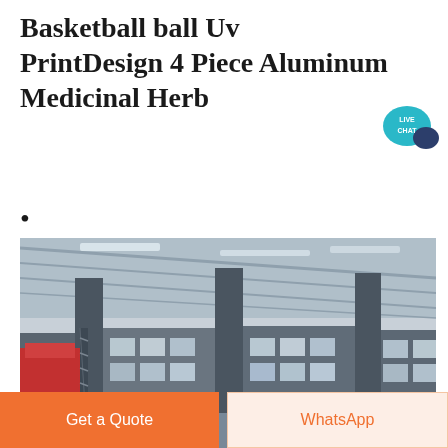Basketball ball Uv PrintDesign 4 Piece Aluminum Medicinal Herb
[Figure (illustration): Live Chat speech bubble badge icon in teal/dark blue with text LIVE CHAT]
•
[Figure (photo): Interior of a large industrial factory/warehouse with steel columns, corrugated metal roof, machinery and equipment including ladders, conveyor systems, and red machinery components]
Get a Quote
WhatsApp